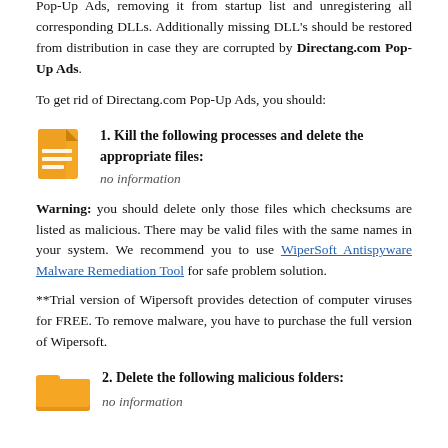Pop-Up Ads, removing it from startup list and unregistering all corresponding DLLs. Additionally missing DLL's should be restored from distribution in case they are corrupted by Directang.com Pop-Up Ads.
To get rid of Directang.com Pop-Up Ads, you should:
1. Kill the following processes and delete the appropriate files:
no information
Warning: you should delete only those files which checksums are listed as malicious. There may be valid files with the same names in your system. We recommend you to use WiperSoft Antispyware Malware Remediation Tool for safe problem solution.
**Trial version of Wipersoft provides detection of computer viruses for FREE. To remove malware, you have to purchase the full version of Wipersoft.
2. Delete the following malicious folders:
no information